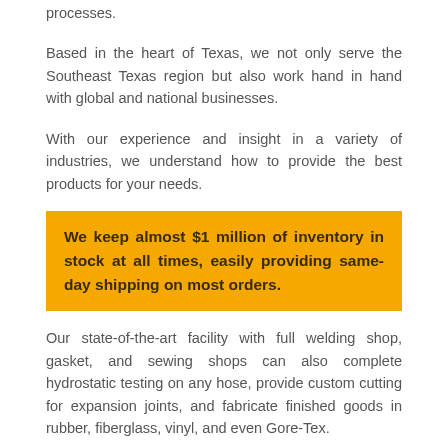processes.
Based in the heart of Texas, we not only serve the Southeast Texas region but also work hand in hand with global and national businesses.
With our experience and insight in a variety of industries, we understand how to provide the best products for your needs.
We keep almost $1 million of inventory in stock at all times, easily providing same-day shipping on most orders.
Our state-of-the-art facility with full welding shop, gasket, and sewing shops can also complete hydrostatic testing on any hose, provide custom cutting for expansion joints, and fabricate finished goods in rubber, fiberglass, vinyl, and even Gore-Tex.